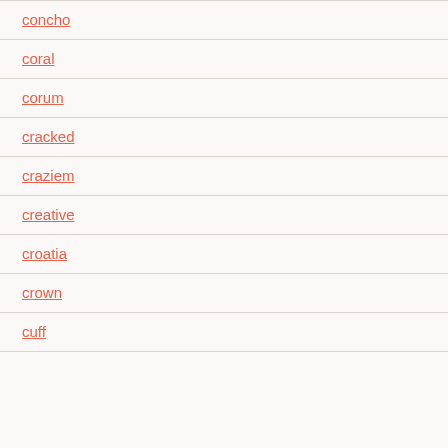concho
coral
corum
cracked
craziem
creative
croatia
crown
cuff